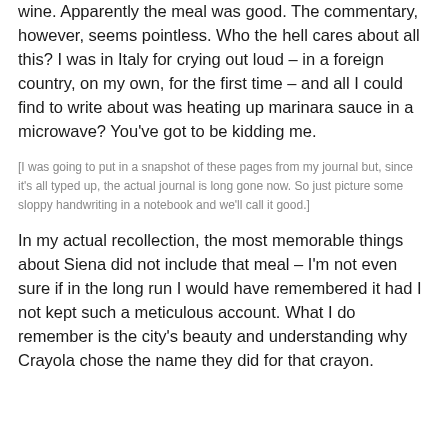wine. Apparently the meal was good. The commentary, however, seems pointless. Who the hell cares about all this? I was in Italy for crying out loud – in a foreign country, on my own, for the first time – and all I could find to write about was heating up marinara sauce in a microwave? You've got to be kidding me.
[I was going to put in a snapshot of these pages from my journal but, since it's all typed up, the actual journal is long gone now. So just picture some sloppy handwriting in a notebook and we'll call it good.]
In my actual recollection, the most memorable things about Siena did not include that meal – I'm not even sure if in the long run I would have remembered it had I not kept such a meticulous account. What I do remember is the city's beauty and understanding why Crayola chose the name they did for that crayon.